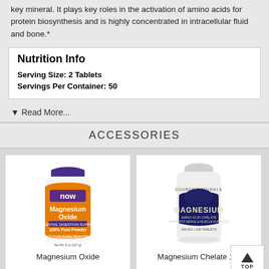key mineral. It plays key roles in the activation of amino acids for protein biosynthesis and is highly concentrated in intracellular fluid and bone.*
| Serving Size: 2 Tablets |
| Servings Per Container: 50 |
▼ Read More...
ACCESSORIES
[Figure (photo): NOW Magnesium Oxide 100% Pure Powder supplement bottle with orange label]
Magnesium Oxide
[Figure (photo): Source Naturals Magnesium supplement bottle with dark blue label]
Magnesium Chelate 1...